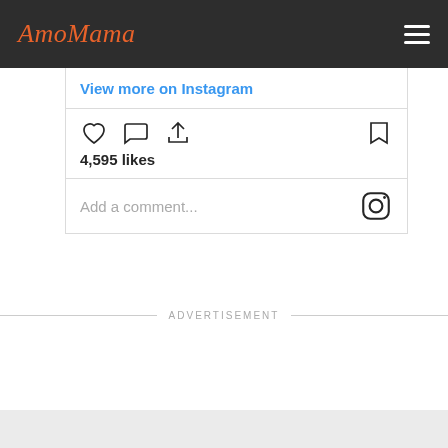AmoMama
View more on Instagram
4,595 likes
Add a comment...
ADVERTISEMENT